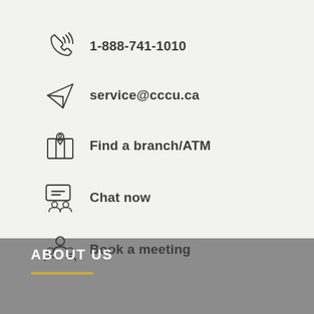1-888-741-1010
service@cccu.ca
Find a branch/ATM
Chat now
Book a meeting
ABOUT US